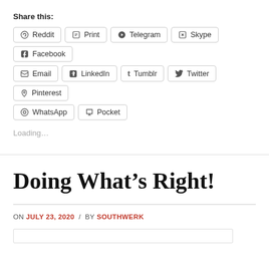Share this:
Reddit
Print
Telegram
Skype
Facebook
Email
LinkedIn
Tumblr
Twitter
Pinterest
WhatsApp
Pocket
Loading...
Doing What’s Right!
ON JULY 23, 2020 / BY SOUTHWERK